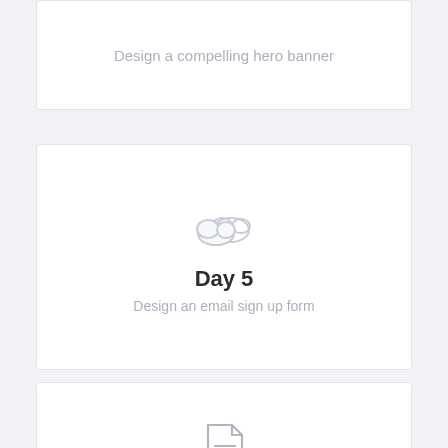Design a compelling hero banner
[Figure (illustration): Cloud icon (two overlapping cloud outlines in light gray)]
Day 5
Design an email sign up form
[Figure (illustration): Document/file icon with lines, outlined in gray]
Day 6
Design a dropdown for a main navigation